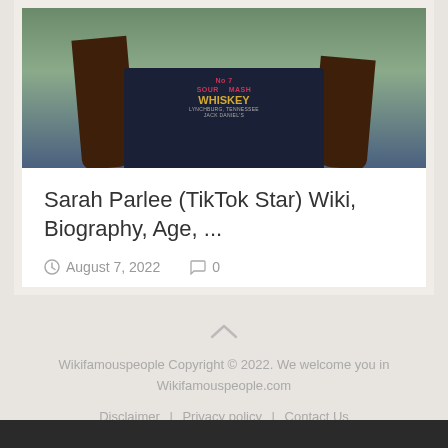[Figure (photo): Photo of Sarah Parlee wearing a dark navy Jack Daniel's Whiskey t-shirt, with long brown hair, standing outdoors with greenery in the background]
Sarah Parlee (TikTok Star) Wiki, Biography, Age, …
August 7, 2022   0
Wikifamouspeople Copyright © 2022. We welcome you in Wikifamouspeople.com
Disclaimer | Privacy policy | Contact Us